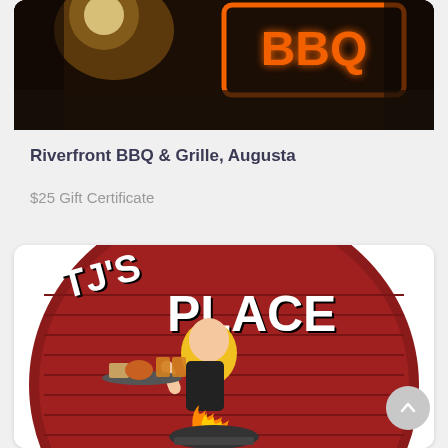[Figure (photo): BBQ neon sign glowing orange against dark brick wall background]
Riverfront BBQ & Grille, Augusta
$25 Gift Certificate
[Figure (illustration): TJ's Place logo: cartoon blonde waitress carrying tray with food and beer mugs, standing in front of brick arch with flames and the text TJ'S PLACE]